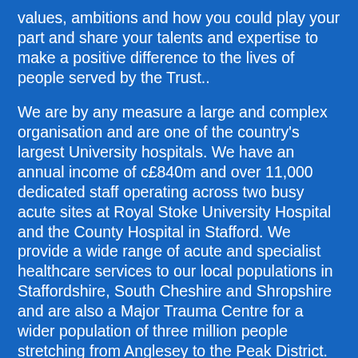values, ambitions and how you could play your part and share your talents and expertise to make a positive difference to the lives of people served by the Trust..
We are by any measure a large and complex organisation and are one of the country's largest University hospitals. We have an annual income of c£840m and over 11,000 dedicated staff operating across two busy acute sites at Royal Stoke University Hospital and the County Hospital in Stafford. We provide a wide range of acute and specialist healthcare services to our local populations in Staffordshire, South Cheshire and Shropshire and are also a Major Trauma Centre for a wider population of three million people stretching from Anglesey to the Peak District.
We have already made significant progress in tackling significant financial and operational challenges and exited Financial Special Measures in November 2020. We have also started to put in place a quality improvement programme of 'Improving Together'; which will embed quality improvement as a fundamental part of our culture. Of course, layered over this for the last two years our staff have responded with